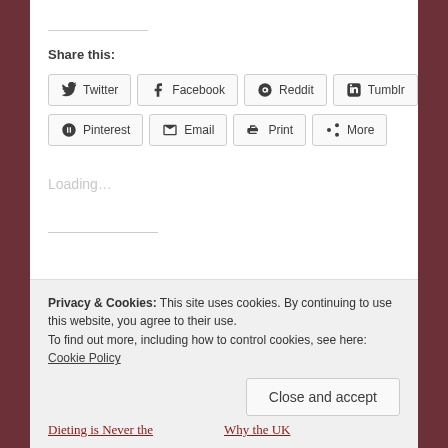Share this:
Twitter
Facebook
Reddit
Tumblr
Pinterest
Email
Print
More
Loading...
Privacy & Cookies: This site uses cookies. By continuing to use this website, you agree to their use. To find out more, including how to control cookies, see here: Cookie Policy
Close and accept
Dieting is Never the
Why the UK